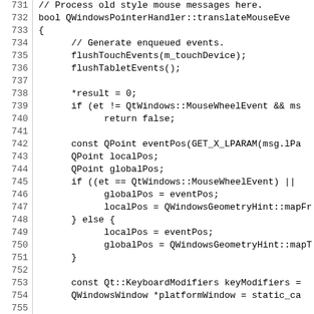[Figure (screenshot): Source code screenshot showing C++ function QWindowsPointerHandler::translateMouseEvent, lines 731-761, with line numbers on the left and code on the right in monospace font.]